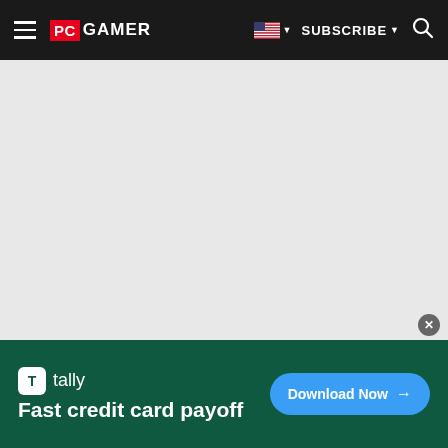PC GAMER | SUBSCRIBE
[Figure (screenshot): Gray empty content area below the PC Gamer navigation bar]
[Figure (infographic): Tally advertisement banner: 'Fast credit card payoff' with a Download Now button]